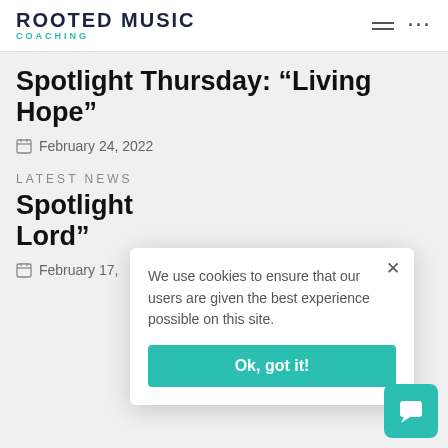ROOTED MUSIC COACHING
Spotlight Thursday: “Living Hope”
February 24, 2022
LATEST NEWS
Spotlight Lord”
February 17,
We use cookies to ensure that our users are given the best experience possible on this site.
Ok, got it!